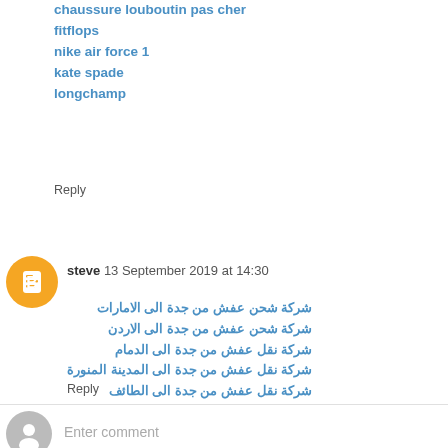chaussure louboutin pas cher
fitflops
nike air force 1
kate spade
longchamp
Reply
steve 13 September 2019 at 14:30
شركة شحن عفش من جدة الى الامارات
شركة شحن عفش من جدة الى الاردن
شركة نقل عفش من جدة الى الدمام
شركة نقل عفش من جدة الى المدينة المنورة
شركة نقل عفش من جدة الى الطائف
Reply
Enter comment